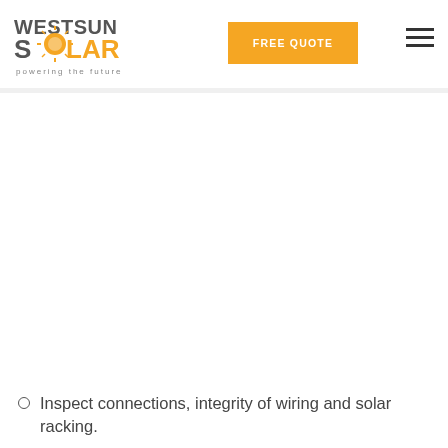[Figure (logo): WestSun Solar logo with orange sun icon and tagline 'powering the future']
[Figure (other): Orange 'FREE QUOTE' button in navigation header]
[Figure (other): Hamburger menu icon (three horizontal lines) in top right corner]
Inspect connections, integrity of wiring and solar racking.